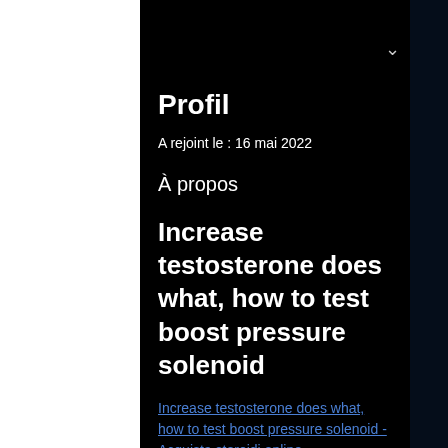Profil
A rejoint le : 16 mai 2022
À propos
Increase testosterone does what, how to test boost pressure solenoid
Increase testosterone does what, how to test boost pressure solenoid - Acquista steroidi online